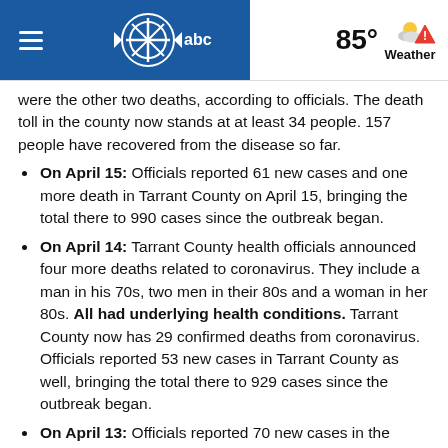ABC News header with hamburger menu, logo, 85° Weather
were the other two deaths, according to officials. The death toll in the county now stands at at least 34 people. 157 people have recovered from the disease so far.
On April 15: Officials reported 61 new cases and one more death in Tarrant County on April 15, bringing the total there to 990 cases since the outbreak began.
On April 14: Tarrant County health officials announced four more deaths related to coronavirus. They include a man in his 70s, two men in their 80s and a woman in her 80s. All had underlying health conditions. Tarrant County now has 29 confirmed deaths from coronavirus. Officials reported 53 new cases in Tarrant County as well, bringing the total there to 929 cases since the outbreak began.
On April 13: Officials reported 70 new cases in the county, bringing the total to 876 cases since the outbreak began. No new deaths were reported, and 103 people have recovered since contracting the disease,